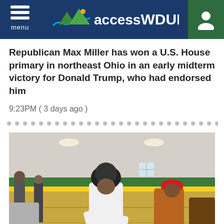accessWDUN - menu
Republican Max Miller has won a U.S. House primary in northeast Ohio in an early midterm victory for Donald Trump, who had endorsed him
9:23PM ( 3 days ago )
[Figure (photo): People at a voting location inside a school gymnasium with green and yellow colors. A person in a white top with a dark head covering leans over a table, while another person in a red cap and brown jacket stands nearby.]